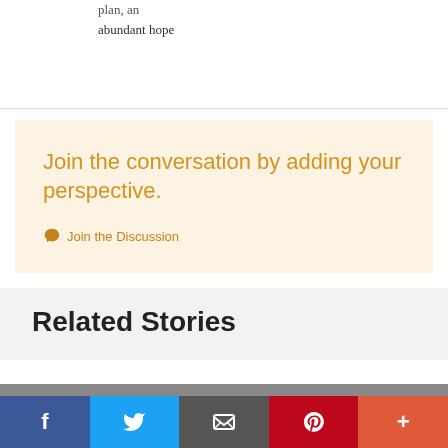plan, an abundant hope
Join the conversation by adding your perspective.
Join the Discussion
Related Stories